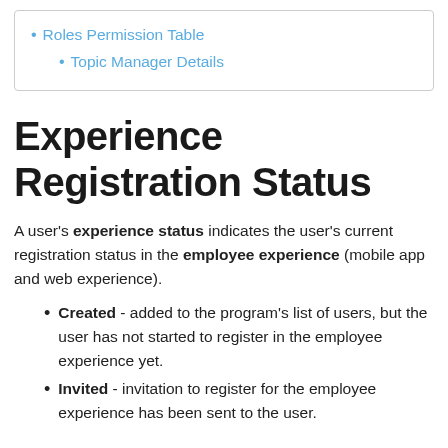Roles Permission Table
Topic Manager Details
Experience Registration Status
A user's experience status indicates the user's current registration status in the employee experience (mobile app and web experience).
Created - added to the program's list of users, but the user has not started to register in the employee experience yet.
Invited - invitation to register for the employee experience has been sent to the user.